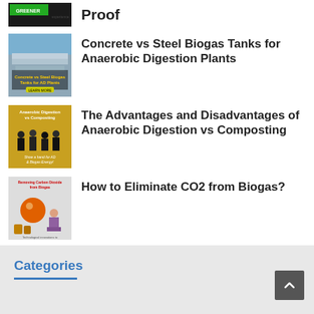Proof
Concrete vs Steel Biogas Tanks for Anaerobic Digestion Plants
The Advantages and Disadvantages of Anaerobic Digestion vs Composting
How to Eliminate CO2 from Biogas?
Categories